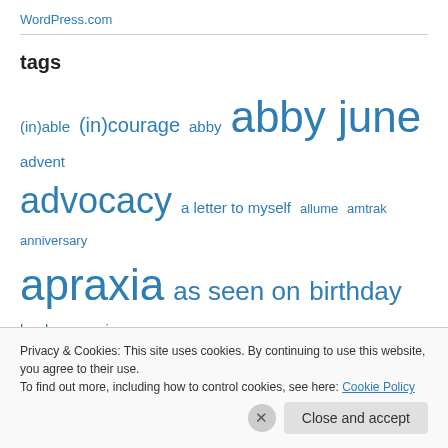WordPress.com
tags
(in)able (in)courage abby abby june advent advocacy a letter to myself allume amtrak anniversary apraxia as seen on birthday books camping camp sebeck chickens chicks christmas conversations
Privacy & Cookies: This site uses cookies. By continuing to use this website, you agree to their use. To find out more, including how to control cookies, see here: Cookie Policy
Close and accept